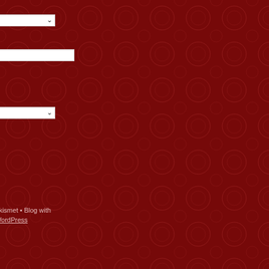s
[Figure (screenshot): A dropdown widget showing 'Select Month' with a chevron arrow on dark red background]
:
[Figure (screenshot): A text search input box]
ch (Search button)
es
s
[Figure (screenshot): A dropdown widget showing 't Category' with a chevron arrow]
RSS
s RSS
s.org
n by Phu
cted by Akismet • Blog with WordPress